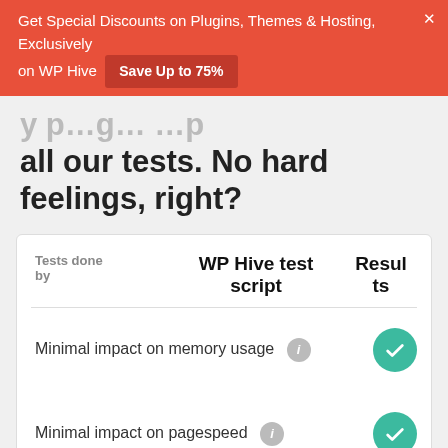Get Special Discounts on Plugins, Themes & Hosting, Exclusively on WP Hive   Save Up to 75%   ×
…y p…g… …p all our tests. No hard feelings, right?
| Tests done by | WP Hive test script | Results |
| --- | --- | --- |
| Minimal impact on memory usage |  | ✓ |
| Minimal impact on pagespeed |  | ✓ |
| No PHP errors, warnings, notices |  | ✓ |